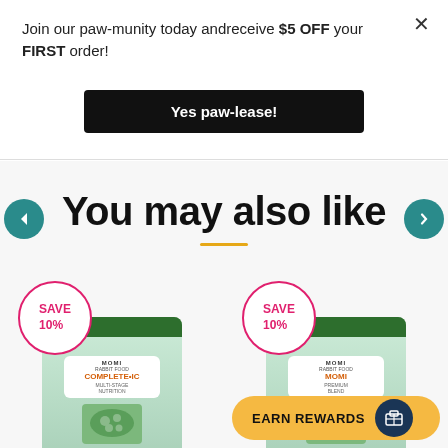Join our paw-munity today andreceive $5 OFF your FIRST order!
Yes paw-lease!
You may also like
[Figure (illustration): Two circular badges each reading SAVE 10% in pink text with pink circular border]
[Figure (photo): Momi rabbit food Complete IC product bag]
[Figure (photo): Momi rabbit food product bag (second product)]
EARN REWARDS